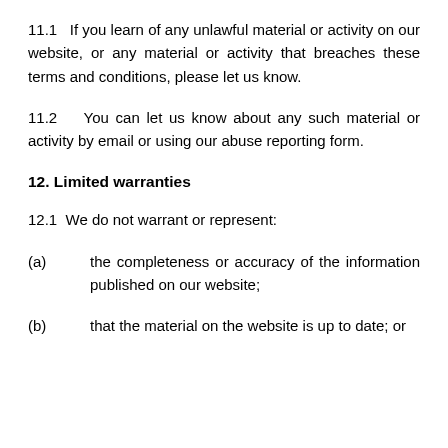11.1  If you learn of any unlawful material or activity on our website, or any material or activity that breaches these terms and conditions, please let us know.
11.2  You can let us know about any such material or activity by email or using our abuse reporting form.
12. Limited warranties
12.1  We do not warrant or represent:
(a)    the completeness or accuracy of the information published on our website;
(b)    that the material on the website is up to date; or